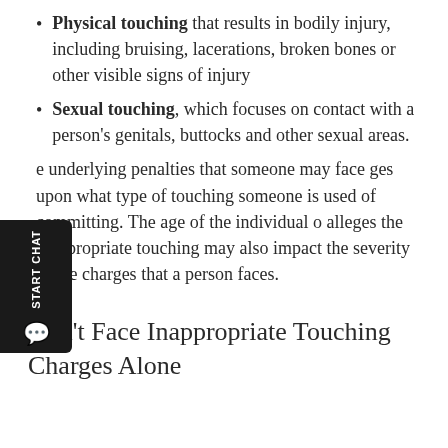Physical touching that results in bodily injury, including bruising, lacerations, broken bones or other visible signs of injury
Sexual touching, which focuses on contact with a person's genitals, buttocks and other sexual areas.
underlying penalties that someone may face ges upon what type of touching someone is used of committing. The age of the individual o alleges the inappropriate touching may also impact the severity of the charges that a person faces.
Don't Face Inappropriate Touching Charges Alone